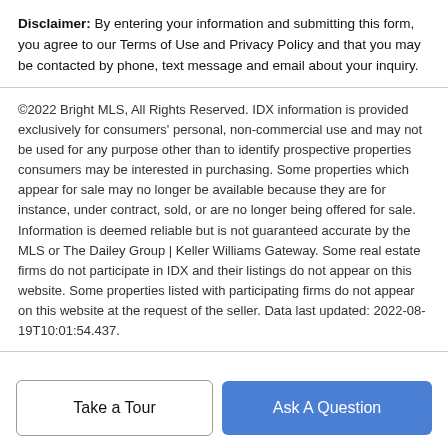Disclaimer: By entering your information and submitting this form, you agree to our Terms of Use and Privacy Policy and that you may be contacted by phone, text message and email about your inquiry.
©2022 Bright MLS, All Rights Reserved. IDX information is provided exclusively for consumers' personal, non-commercial use and may not be used for any purpose other than to identify prospective properties consumers may be interested in purchasing. Some properties which appear for sale may no longer be available because they are for instance, under contract, sold, or are no longer being offered for sale. Information is deemed reliable but is not guaranteed accurate by the MLS or The Dailey Group | Keller Williams Gateway. Some real estate firms do not participate in IDX and their listings do not appear on this website. Some properties listed with participating firms do not appear on this website at the request of the seller. Data last updated: 2022-08-19T10:01:54.437.
Take a Tour
Ask A Question